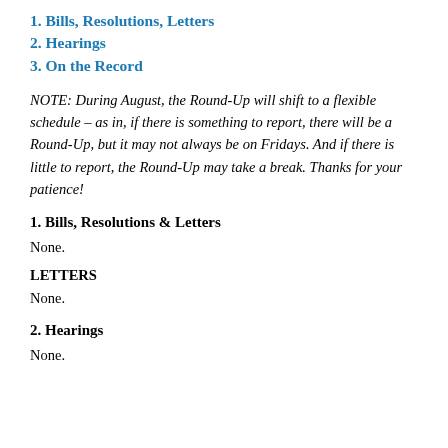1. Bills, Resolutions, Letters
2. Hearings
3. On the Record
NOTE: During August, the Round-Up will shift to a flexible schedule – as in, if there is something to report, there will be a Round-Up, but it may not always be on Fridays. And if there is little to report, the Round-Up may take a break. Thanks for your patience!
1. Bills, Resolutions & Letters
None.
LETTERS
None.
2. Hearings
None.